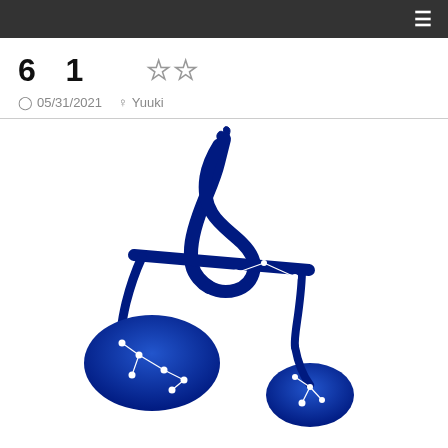≡
6  1
☆ ☆
🕐 05/31/2021  👤 Yuuki
[Figure (illustration): Blue Libra zodiac scales symbol with white constellation star lines and dots overlaid on the scales illustration]